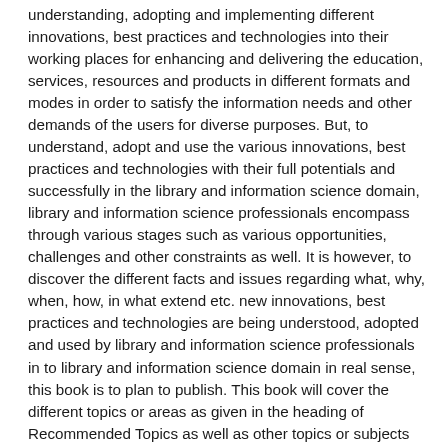understanding, adopting and implementing different innovations, best practices and technologies into their working places for enhancing and delivering the education, services, resources and products in different formats and modes in order to satisfy the information needs and other demands of the users for diverse purposes. But, to understand, adopt and use the various innovations, best practices and technologies with their full potentials and successfully in the library and information science domain, library and information science professionals encompass through various stages such as various opportunities, challenges and other constraints as well. It is however, to discover the different facts and issues regarding what, why, when, how, in what extend etc. new innovations, best practices and technologies are being understood, adopted and used by library and information science professionals in to library and information science domain in real sense, this book is to plan to publish. This book will cover the different topics or areas as given in the heading of Recommended Topics as well as other topics or subjects related to the innovative trends and new technologies in library and information science sphere.